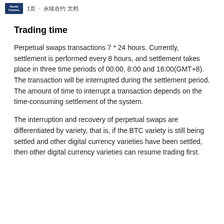1页 · 永续合约 文档
Trading time
Perpetual swaps transactions 7 * 24 hours. Currently, settlement is performed every 8 hours, and settlement takes place in three time periods of 00:00, 8:00 and 16:00(GMT+8). The transaction will be interrupted during the settlement period. The amount of time to interrupt a transaction depends on the time-consuming settlement of the system.
The interruption and recovery of perpetual swaps are differentiated by variety, that is, if the BTC variety is still being settled and other digital currency varieties have been settled, then other digital currency varieties can resume trading first.